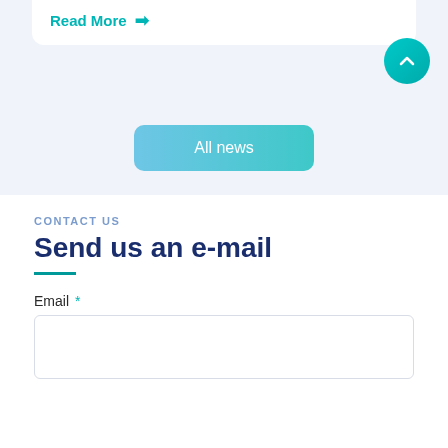Read More →
[Figure (other): Teal circular button with upward chevron arrow]
All news
CONTACT US
Send us an e-mail
Email *